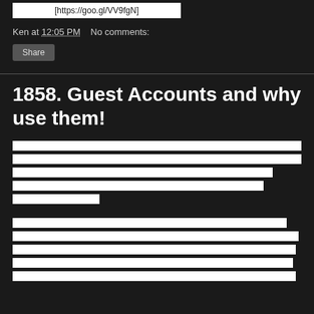[https://goo.gl/VV9fgN]
Ken at 12:05 PM    No comments:
Share
1858. Guest Accounts and why use them!
[redacted text lines — paragraph 1]
[redacted text lines — paragraph 2]